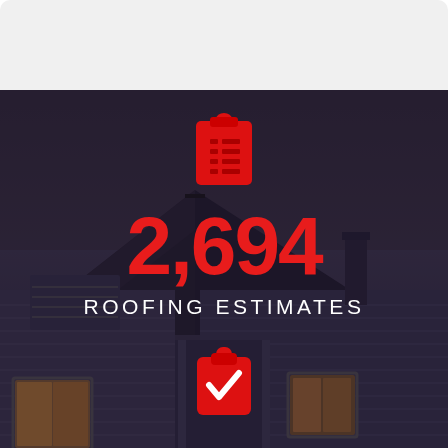[Figure (photo): Dark overlay on a house exterior with rooftop visible, gabled roof, gray siding, windows with warm interior light]
[Figure (infographic): Red clipboard/checklist icon above the statistic]
2,694
ROOFING ESTIMATES
[Figure (infographic): Red clipboard with checkmark icon below the statistic]